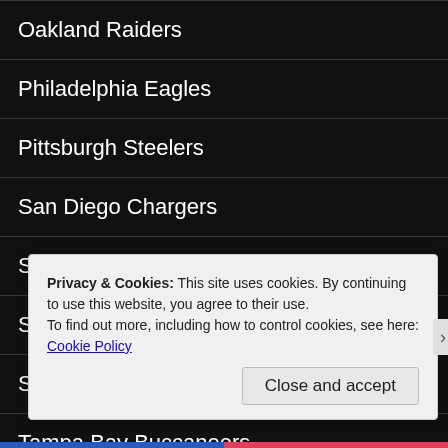Oakland Raiders
Philadelphia Eagles
Pittsburgh Steelers
San Diego Chargers
San Francisco 49ers
Seattle Seahawks
St. Louis Rams
Tampa Bay Buccaneers
Tennessee Titans
Privacy & Cookies: This site uses cookies. By continuing to use this website, you agree to their use.
To find out more, including how to control cookies, see here: Cookie Policy
Close and accept